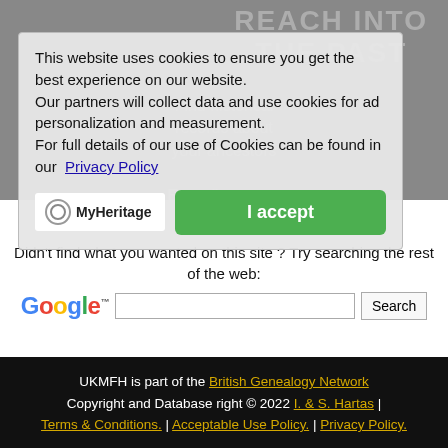[Figure (screenshot): Background hero image of historical portrait photos with overlaid text: REACH INTO THE PAST, Find historical records about your ancestors. Enter first name / last name fields visible behind cookie overlay. MyHeritage branding visible.]
This website uses cookies to ensure you get the best experience on our website.
Our partners will collect data and use cookies for ad personalization and measurement.
For full details of our use of Cookies can be found in our Privacy Policy
I accept
Didn't find what you wanted on this site ? Try searching the rest of the web:
[Figure (logo): Google logo with search input box and Search button]
UKMFH is part of the British Genealogy Network Copyright and Database right © 2022 I. & S. Hartas | Terms & Conditions. | Acceptable Use Policy. | Privacy Policy.